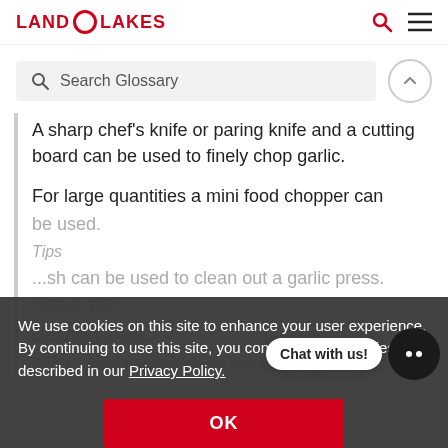LAND O LAKES
Search Glossary
A sharp chef’s knife or paring knife and a cutting board can be used to finely chop garlic.
For large quantities a mini food chopper can be used.
Tips
...A brush can be used to clean out a garlic press. Some garlic presses have self-cleaning features.
It is a good idea to clean the garlic press
We use cookies on this site to enhance your user experience. By continuing to use this site, you consent to our cookies as described in our Privacy Policy.
OK